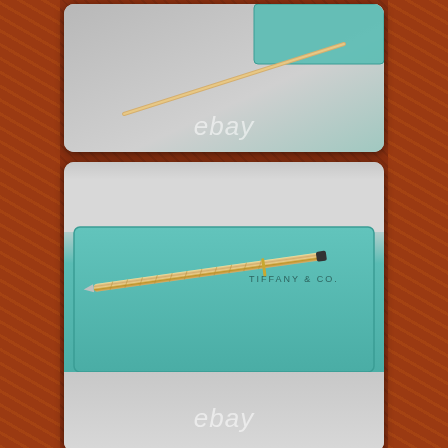[Figure (photo): Top photo: gray surface with teal Tiffany & Co box corner visible, eBay watermark overlay]
[Figure (photo): Middle photo: gold/silver pen resting on teal Tiffany & Co box with TIFFANY & CO text visible on box, eBay watermark overlay]
[Figure (photo): Bottom photo: close-up of pen tip and teal Tiffany & Co box on gray surface]